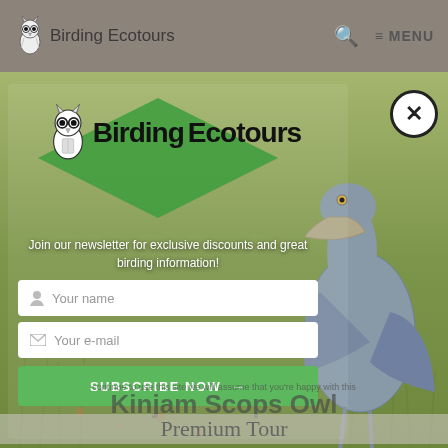Birding Ecotours   🔍  ≡ MENU
[Figure (screenshot): Birding Ecotours website screenshot showing a newsletter signup modal overlay on top of a photo of a Shoebill bird standing in green grass. The modal contains the Birding Ecotours logo, text 'Join our newsletter for exclusive discounts and great birding information!', input fields for name and email, and a green SUBSCRIBE NOW button. A close (X) button appears top-right of the modal.]
Join our newsletter for exclusive discounts and great birding information!
Your name
Your e-mail
SUBSCRIBE NOW →
Kinjam Scops Owl
Premium Tour